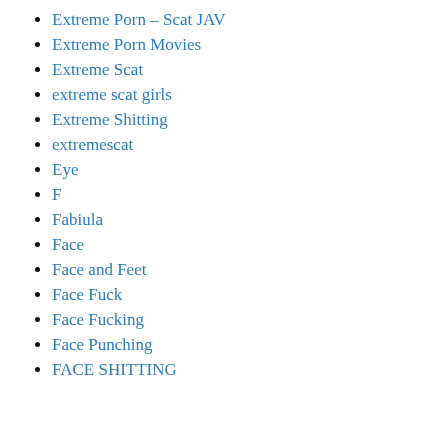Extreme Porn
Extreme Porn – Scat JAV
Extreme Porn Movies
Extreme Scat
extreme scat girls
Extreme Shitting
extremescat
Eye
F
Fabiula
Face
Face and Feet
Face Fuck
Face Fucking
Face Punching
FACE SHITTING